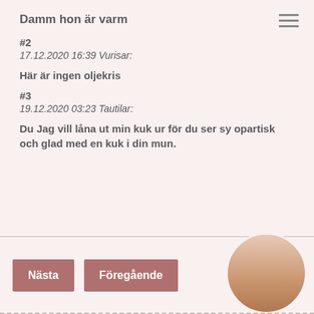Damm hon är varm
#2
17.12.2020 16:39 Vurisar:
Här är ingen oljekris
#3
19.12.2020 03:23 Tautilar:
Du Jag vill låna ut min kuk ur för du ser sy opartisk och glad med en kuk i din mun.
[Figure (photo): Circular avatar image of a person]
Nästa
Föregående